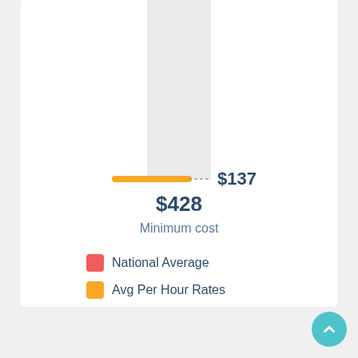[Figure (bar-chart): Minimum cost]